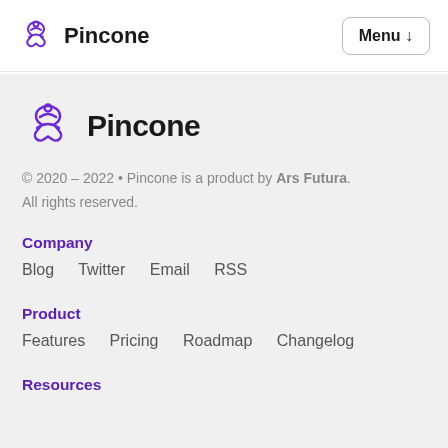Pincone   Menu ↓
[Figure (logo): Pincone logo - purple flower/pinecone icon with text 'Pincone' in large bold black font]
© 2020 – 2022 • Pincone is a product by Ars Futura.
All rights reserved.
Company
Blog  Twitter  Email  RSS
Product
Features  Pricing  Roadmap  Changelog
Resources